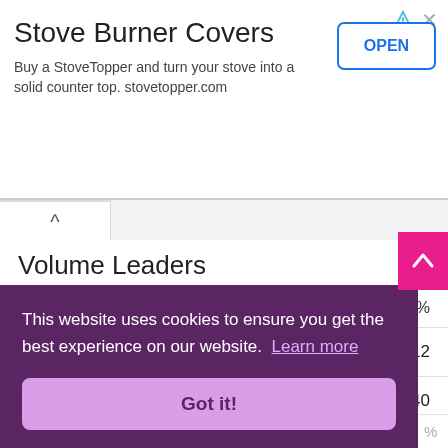[Figure (other): Advertisement banner for Stove Burner Covers / StoveTopper with OPEN button]
Volume Leaders
| Option | Open Interest | % |
| --- | --- | --- |
| NIFTY CE-18000.00 | 6477K (↑3081K) | -12 |
| NIFTY PE-17000.00 | 5972K (↑3688K) | -40 |
| NIFTY CE-18000.00 (partial) | ... | -17 |
| (partial row) | ... | -22 |
This website uses cookies to ensure you get the best experience on our website. Learn more
Got it!